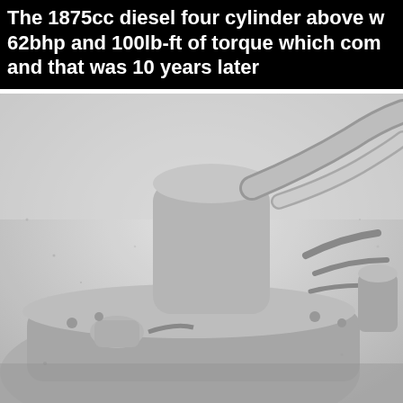The 1875cc diesel four cylinder above w... 62bhp and 100lb-ft of torque which com... and that was 10 years later
[Figure (photo): Close-up black and white photograph of a 1875cc diesel four cylinder engine, showing the top and side of the engine block with intake manifold, pipes, and mechanical components visible.]